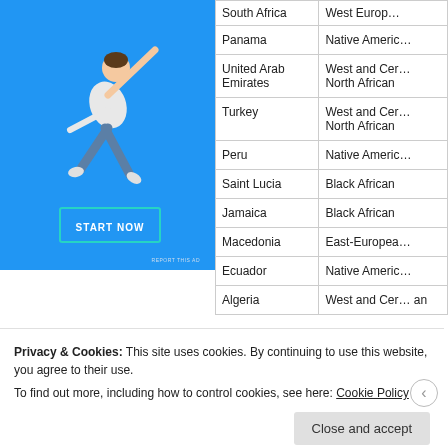[Figure (photo): Advertisement panel with blue background showing a person jumping/flying with arms outstretched, wearing a white shirt and jeans. A 'START NOW' button with teal border is shown below the figure.]
| Country | Region |
| --- | --- |
| South Africa (truncated) | West European (truncated) |
| Panama | Native Americ... |
| United Arab Emirates | West and Cer... North African |
| Turkey | West and Cer... North African |
| Peru | Native Americ... |
| Saint Lucia | Black African |
| Jamaica | Black African |
| Macedonia | East-Europea... |
| Ecuador | Native Americ... |
| Algeria | West and Cer... an |
Privacy & Cookies: This site uses cookies. By continuing to use this website, you agree to their use. To find out more, including how to control cookies, see here: Cookie Policy
Close and accept